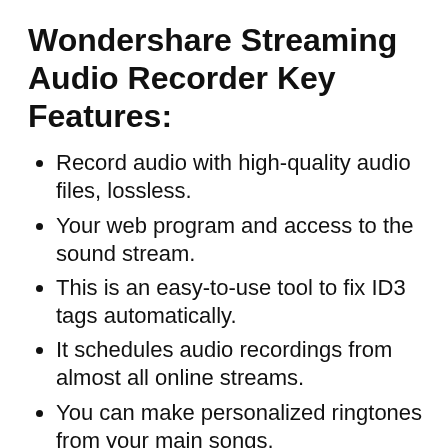Wondershare Streaming Audio Recorder Key Features:
Record audio with high-quality audio files, lossless.
Your web program and access to the sound stream.
This is an easy-to-use tool to fix ID3 tags automatically.
It schedules audio recordings from almost all online streams.
You can make personalized ringtones from your main songs.
Wondershare offers, in one package, everything you need to record.
Schedule you to change the label yourself, send it directly to iTunes.
You easily record music from YouTube…